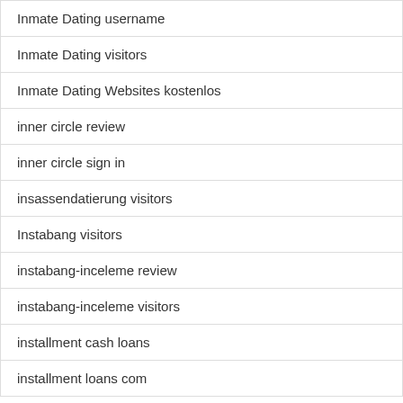| Inmate Dating username |
| Inmate Dating visitors |
| Inmate Dating Websites kostenlos |
| inner circle review |
| inner circle sign in |
| insassendatierung visitors |
| Instabang visitors |
| instabang-inceleme review |
| instabang-inceleme visitors |
| installment cash loans |
| installment loans com |